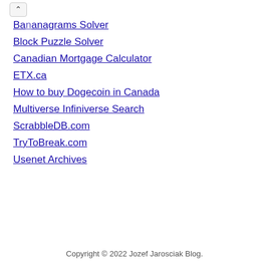Bananagrams Solver
Block Puzzle Solver
Canadian Mortgage Calculator
ETX.ca
How to buy Dogecoin in Canada
Multiverse Infiniverse Search
ScrabbleDB.com
TryToBreak.com
Usenet Archives
Copyright © 2022 Jozef Jarosciak Blog.